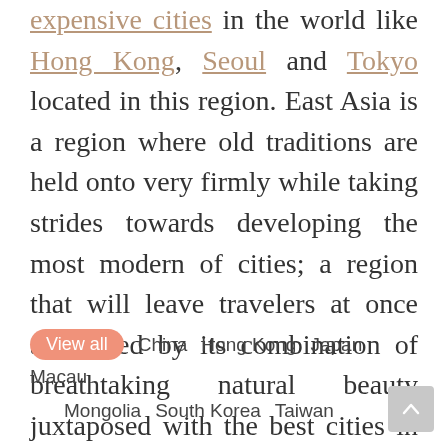expensive cities in the world like Hong Kong, Seoul and Tokyo located in this region. East Asia is a region where old traditions are held onto very firmly while taking strides towards developing the most modern of cities; a region that will leave travelers at once astounded by its combination of breathtaking natural beauty juxtaposed with the best cities in the world.
View all  China  Hong Kong  Japan  Macau  Mongolia  South Korea  Taiwan